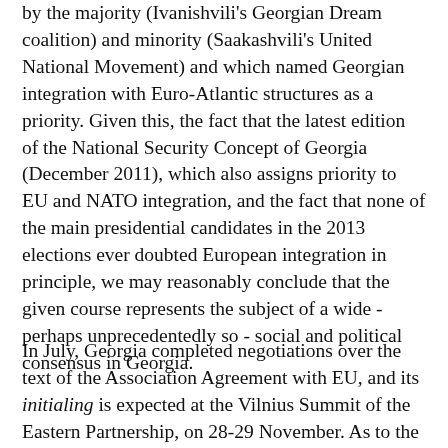by the majority (Ivanishvili's Georgian Dream coalition) and minority (Saakashvili's United National Movement) and which named Georgian integration with Euro-Atlantic structures as a priority. Given this, the fact that the latest edition of the National Security Concept of Georgia (December 2011), which also assigns priority to EU and NATO integration, and the fact that none of the main presidential candidates in the 2013 elections ever doubted European integration in principle, we may reasonably conclude that the given course represents the subject of a wide - perhaps unprecedentedly so - social and political consensus in Georgia.
In July, Georgia completed negotiations over the text of the Association Agreement with EU, and its initialing is expected at the Vilnius Summit of the Eastern Partnership, on 28-29 November. As to the